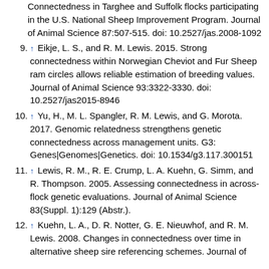Connectedness in Targhee and Suffolk flocks participating in the U.S. National Sheep Improvement Program. Journal of Animal Science 87:507-515. doi: 10.2527/jas.2008-1092
9. ↑ Eikje, L. S., and R. M. Lewis. 2015. Strong connectedness within Norwegian Cheviot and Fur Sheep ram circles allows reliable estimation of breeding values. Journal of Animal Science 93:3322-3330. doi: 10.2527/jas2015-8946
10. ↑ Yu, H., M. L. Spangler, R. M. Lewis, and G. Morota. 2017. Genomic relatedness strengthens genetic connectedness across management units. G3: Genes|Genomes|Genetics. doi: 10.1534/g3.117.300151
11. ↑ Lewis, R. M., R. E. Crump, L. A. Kuehn, G. Simm, and R. Thompson. 2005. Assessing connectedness in across-flock genetic evaluations. Journal of Animal Science 83(Suppl. 1):129 (Abstr.).
12. ↑ Kuehn, L. A., D. R. Notter, G. E. Nieuwhof, and R. M. Lewis. 2008. Changes in connectedness over time in alternative sheep sire referencing schemes. Journal of